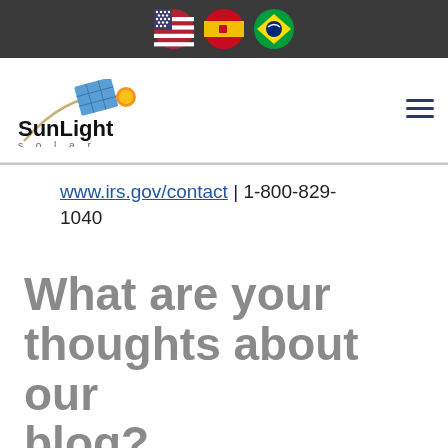[Figure (other): Dark header bar with three circular flag icons: USA flag, Spain flag, Brazil flag]
[Figure (logo): SunLight Solar logo with solar panel graphic, arc, and sun icon. Text reads 'SunLight' in bold with 's o l a r' below in spaced letters. Hamburger menu icon on the right.]
www.irs.gov/contact | 1-800-829-1040
What are your thoughts about our blog?